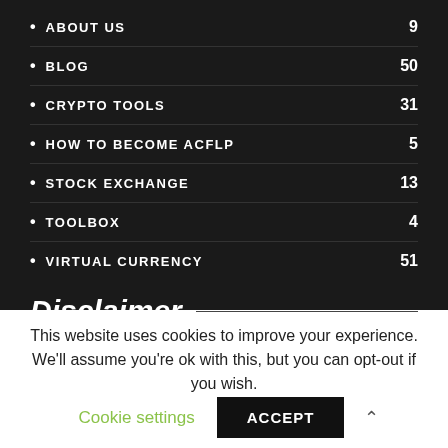ABOUT US 9
BLOG 50
CRYPTO TOOLS 31
HOW TO BECOME ACFLP 5
STOCK EXCHANGE 13
TOOLBOX 4
VIRTUAL CURRENCY 51
Disclaimer
This website uses cookies to improve your experience. We'll assume you're ok with this, but you can opt-out if you wish.
Cookie settings   ACCEPT